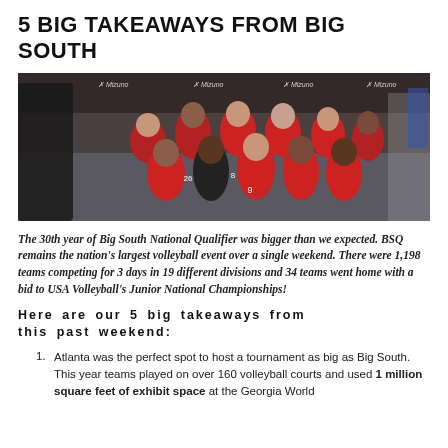5 BIG TAKEAWAYS FROM BIG SOUTH
[Figure (photo): Group photo of a girls volleyball team in red uniforms at an indoor tournament venue with Mizuno banners visible in the background.]
The 30th year of Big South National Qualifier was bigger than we expected. BSQ remains the nation's largest volleyball event over a single weekend. There were 1,198 teams competing for 3 days in 19 different divisions and 34 teams went home with a bid to USA Volleyball's Junior National Championships!
Here are our 5 big takeaways from this past weekend:
Atlanta was the perfect spot to host a tournament as big as Big South. This year teams played on over 160 volleyball courts and used 1 million square feet of exhibit space at the Georgia World